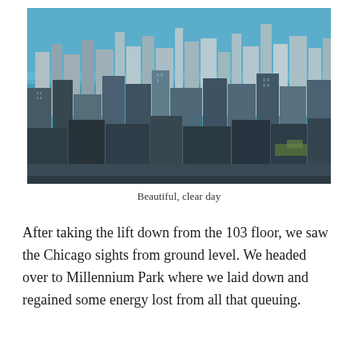[Figure (photo): Aerial photograph of the Chicago skyline on a clear day, showing dense skyscrapers and the blue waters of Lake Michigan in the background.]
Beautiful, clear day
After taking the lift down from the 103 floor, we saw the Chicago sights from ground level. We headed over to Millennium Park where we laid down and regained some energy lost from all that queuing.